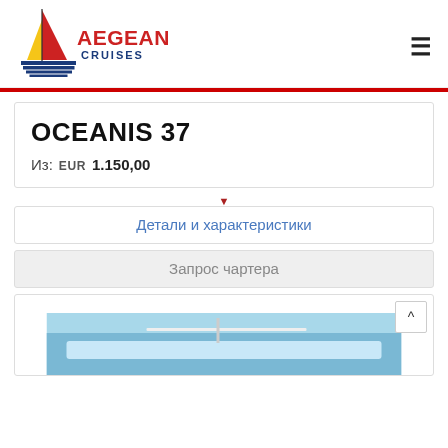[Figure (logo): Aegean Cruises logo with sailing boat graphic in red, yellow, and blue stripes, with text 'AEGEAN CRUISES']
OCEANIS 37
Из:  EUR  1.150,00
Детали и характеристики
Запрос чартера
[Figure (photo): Photo of sailing boat deck and mast against blue sky]